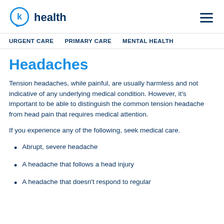k health | URGENT CARE  PRIMARY CARE  MENTAL HEALTH
Headaches
Tension headaches, while painful, are usually harmless and not indicative of any underlying medical condition. However, it's important to be able to distinguish the common tension headache from head pain that requires medical attention.
If you experience any of the following, seek medical care.
Abrupt, severe headache
A headache that follows a head injury
A headache that doesn't respond to regular